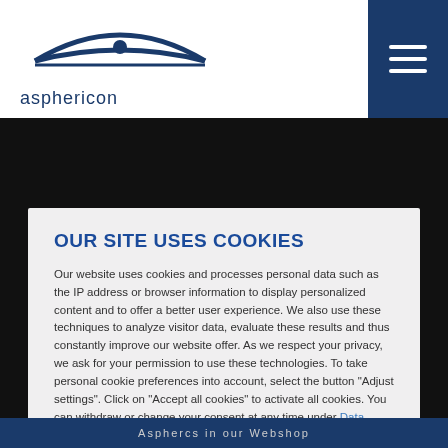[Figure (logo): Asphericon logo with stylized lens/eye shape above the text 'asphericon']
OUR SITE USES COOKIES
Our website uses cookies and processes personal data such as the IP address or browser information to display personalized content and to offer a better user experience. We also use these techniques to analyze visitor data, evaluate these results and thus constantly improve our website offer. As we respect your privacy, we ask for your permission to use these technologies. To take personal cookie preferences into account, select the button "Adjust settings". Click on "Accept all cookies" to activate all cookies. You can withdraw or change your consent at any time under Data Privacy.
Imprint | Data Privacy
accept cookies
Adjust settings
Asphercs in our Webshop